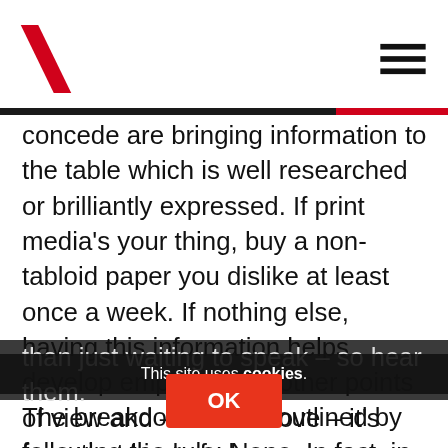concede are bringing information to the table which is well researched or brilliantly expressed. If print media's your thing, buy a non-tabloid paper you dislike at least once a week. If nothing else, having this information helps develop empathy with other points of view and – #feelthelove – it's from that kind of place progress and change come. People who feel heard are less likely to shout and more likely to reciprocate listening, rather than just waiting to speak – so hear them.
The breakdown: Time outlined by following the rule: None. In fact, in the spirit of honesty